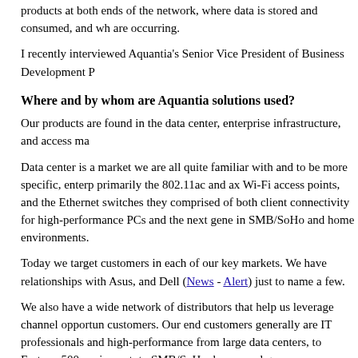products at both ends of the network, where data is stored and consumed, and wh are occurring.
I recently interviewed Aquantia's Senior Vice President of Business Development P
Where and by whom are Aquantia solutions used?
Our products are found in the data center, enterprise infrastructure, and access ma
Data center is a market we are all quite familiar with and to be more specific, enteri primarily the 802.11ac and ax Wi-Fi access points, and the Ethernet switches they comprised of both client connectivity for high-performance PCs and the next gene in SMB/SoHo and home environments.
Today we target customers in each of our key markets. We have relationships with Asus, and Dell (News - Alert) just to name a few.
We also have a wide network of distributors that help us leverage channel opportun customers. Our end customers generally are IT professionals and high-performance from large data centers, to Fortune 500 equipment, to SMB/SoHo, home, and gam
What pain points does Aquantia help those customers address?
Our solutions are designed to alleviate network bandwidth bottlenecks, deliver lead significantly reduced system power consumption, and enable the deployment of the communications infrastructure necessary to address the explosive growth of global
Our customers have come to rely increasingly on Aquantia's disruptive solutions